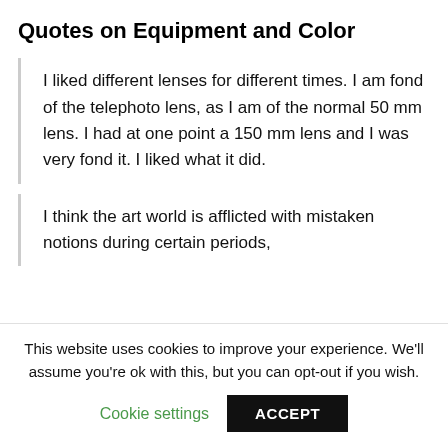Quotes on Equipment and Color
I liked different lenses for different times. I am fond of the telephoto lens, as I am of the normal 50 mm lens. I had at one point a 150 mm lens and I was very fond it. I liked what it did.
I think the art world is afflicted with mistaken notions during certain periods,
This website uses cookies to improve your experience. We'll assume you're ok with this, but you can opt-out if you wish.
Cookie settings  ACCEPT